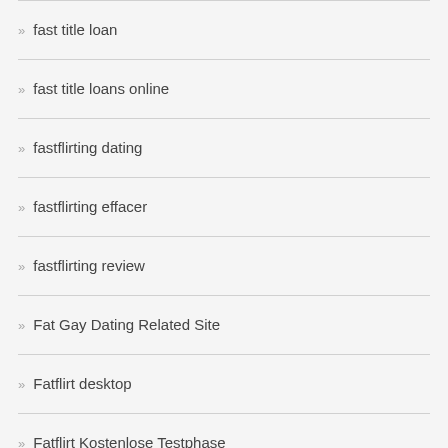fast title loan
fast title loans online
fastflirting dating
fastflirting effacer
fastflirting review
Fat Gay Dating Related Site
Fatflirt desktop
Fatflirt Kostenlose Testphase
fatflirt reviews
FatFlirt visitors